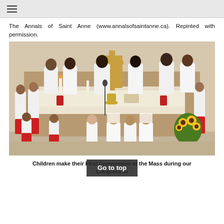≡
The Annals of Saint Anne (www.annalsofsaintanne.ca). Repinted with permission.
[Figure (photo): Children kneeling at an altar rail during First Communion Mass, with several priests in white vestments standing behind the altar. Altar boys in red and white flank the sides. Flower arrangements with sunflowers are visible on the right.]
Children make their First Communion at the Mass during our Congress in